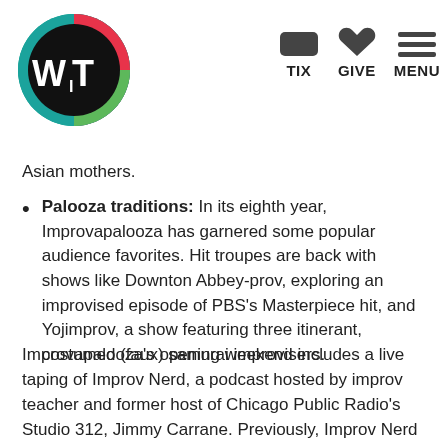[Figure (logo): WIT (Washington Improv Theater) logo: black circle with colorful ring (red, teal, green), white letters W, I, T with subscript I]
TIX   GIVE   MENU
Asian mothers.
Palooza traditions: In its eighth year, Improvapalooza has garnered some popular audience favorites. Hit troupes are back with shows like Downton Abbey-prov, exploring an improvised episode of PBS’s Masterpiece hit, and Yojimprov, a show featuring three itinerant, costumed (faux) samurai improvisers.
Improvapalooza’s opening weekend includes a live taping of Improv Nerd, a podcast hosted by improv teacher and former host of Chicago Public Radio’s Studio 312, Jimmy Carrane. Previously, Improv Nerd has featured comedy icons like Rachel Dratch, Andy Richter and Key & Peele. Carrane will interview Travis Charles Ploeger, director and accompanist of WIT’s veteran ensemble iMusical. Carrane